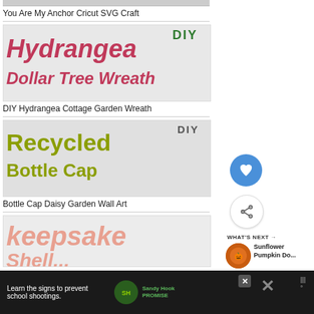You Are My Anchor Cricut SVG Craft
[Figure (photo): DIY Hydrangea Dollar Tree Wreath thumbnail with pink italic text]
DIY Hydrangea Cottage Garden Wreath
[Figure (photo): DIY Recycled Bottle Cap Wall Art thumbnail with olive green text]
Bottle Cap Daisy Garden Wall Art
[Figure (photo): Keepsake Shell craft thumbnail with peach italic text]
[Figure (screenshot): Sandy Hook Promise advertisement: Learn the signs to prevent school shootings.]
WHAT'S NEXT → Sunflower Pumpkin Do...